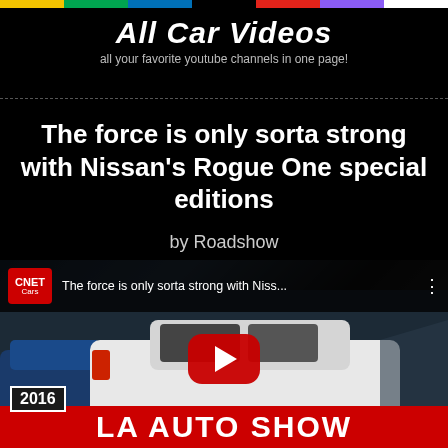All Car Videos — all your favorite youtube channels in one page!
The force is only sorta strong with Nissan's Rogue One special editions
by Roadshow
[Figure (screenshot): YouTube video thumbnail showing a white Nissan Rogue SUV at the 2016 LA Auto Show, with CNET Cars channel logo and video title 'The force is only sorta strong with Niss...' and a red YouTube play button overlay. Bottom shows '2016 LA AUTO SHOW' banner.]